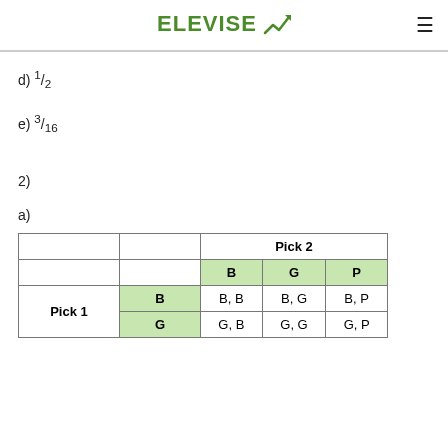ELEVISE
d) 1/2
e) 3/16
2)
a)
|  |  | Pick 2 B | Pick 2 G | Pick 2 P |
| --- | --- | --- | --- | --- |
| Pick 1 | B | B, B | B, G | B, P |
|  | G | G, B | G, G | G, P |